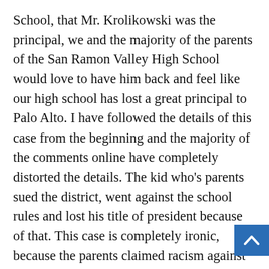School, that Mr. Krolikowski was the principal, we and the majority of the parents of the San Ramon Valley High School would love to have him back and feel like our high school has lost a great principal to Palo Alto. I have followed the details of this case from the beginning and the majority of the comments online have completely distorted the details. The kid who's parents sued the district, went against the school rules and lost his title of president because of that. This case is completely ironic, because the parents claimed racism against Asians while backing their kid to be racist towards other minorities. After the lawsuit, the kid got the title back but the parents continued the lawsuit and changed it to freedom of speech case with the help of an attorney from Texas and wouldn't back down until they had extracted $600,000 in the middle of the pandemic from our school district.